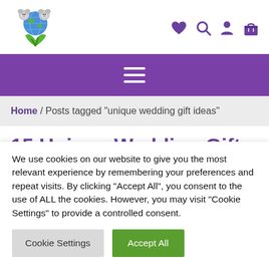[Figure (logo): Koala bears with globe logo with green checkmark and leaves]
[Figure (infographic): Header icons: heart, search, person, shopping bag in purple]
[Figure (infographic): Purple navigation bar with white hamburger menu icon]
Home / Posts tagged “unique wedding gift ideas”
15 Unique Wedding Gift...
We use cookies on our website to give you the most relevant experience by remembering your preferences and repeat visits. By clicking “Accept All”, you consent to the use of ALL the cookies. However, you may visit "Cookie Settings" to provide a controlled consent.
Cookie Settings
Accept All